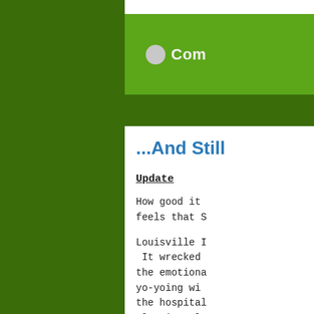Com...
...And Still
Update
How good it feels that S
Louisville I It wrecked the emotional yo-yoing wi the hospital plugging al
[Figure (other): Boats Thre... - linked image thumbnail]
Happy to re for quiltin